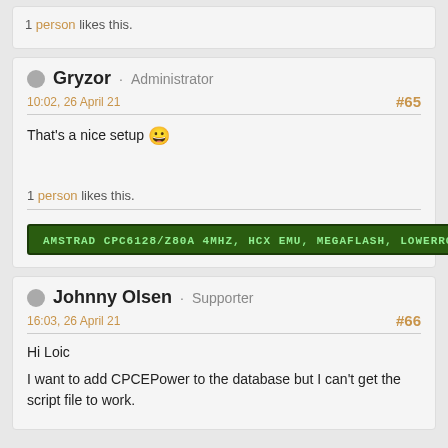1 person likes this.
Gryzor · Administrator
10:02, 26 April 21
#65
That's a nice setup 😀
1 person likes this.
[Figure (other): Green signature banner with text: AMSTRAD CPC6128/Z80A 4MHZ, HCX EMU, MEGAFLASH, LOWERROM]
Johnny Olsen · Supporter
16:03, 26 April 21
#66
Hi Loic
I want to add CPCEPower to the database but I can't get the script file to work.